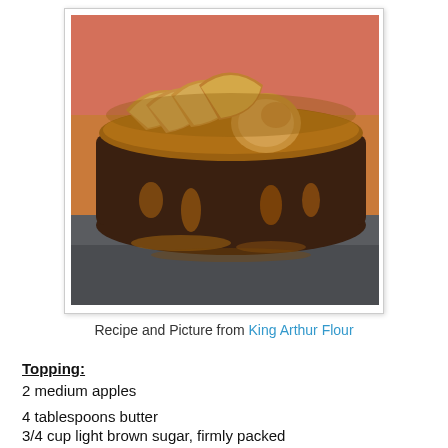[Figure (photo): An upside-down caramel apple cake with glazed apple slices arranged on top, sitting on a dark slate board with caramel drizzle. A coral/salmon colored background is visible behind the cake.]
Recipe and Picture from King Arthur Flour
Topping:
2 medium apples
4 tablespoons butter
3/4 cup light brown sugar, firmly packed